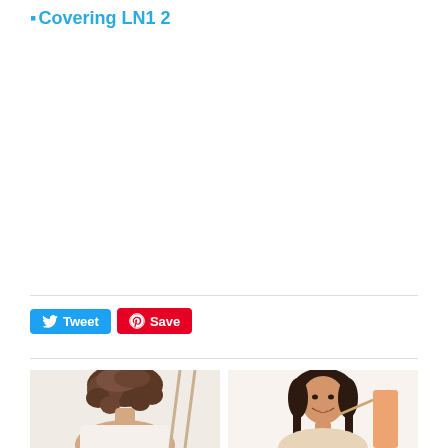Covering LN1 2
[Figure (illustration): Social share buttons: Tweet (Twitter blue button with bird icon) and Save (Pinterest red button with P icon)]
[Figure (photo): Two side-by-side photos of women with hair styling. Left photo shows a woman with curly brown hair from behind. Right photo shows a smiling woman with long dark hair.]